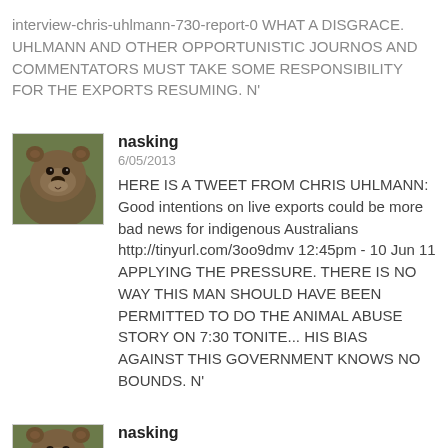interview-chris-uhlmann-730-report-0 WHAT A DISGRACE. UHLMANN AND OTHER OPPORTUNISTIC JOURNOS AND COMMENTATORS MUST TAKE SOME RESPONSIBILITY FOR THE EXPORTS RESUMING. N'
[Figure (photo): Avatar image of a brown bear face close-up]
nasking
6/05/2013
HERE IS A TWEET FROM CHRIS UHLMANN: Good intentions on live exports could be more bad news for indigenous Australians http://tinyurl.com/3oo9dmv 12:45pm - 10 Jun 11 APPLYING THE PRESSURE. THERE IS NO WAY THIS MAN SHOULD HAVE BEEN PERMITTED TO DO THE ANIMAL ABUSE STORY ON 7:30 TONITE... HIS BIAS AGAINST THIS GOVERNMENT KNOWS NO BOUNDS. N'
[Figure (photo): Avatar image of a brown bear face close-up]
nasking